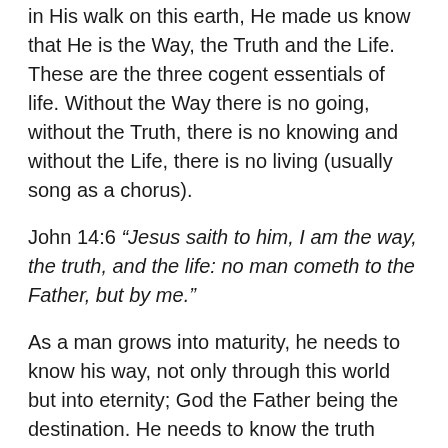in His walk on this earth, He made us know that He is the Way, the Truth and the Life. These are the three cogent essentials of life. Without the Way there is no going, without the Truth, there is no knowing and without the Life, there is no living (usually song as a chorus).
John 14:6 “Jesus saith to him, I am the way, the truth, and the life: no man cometh to the Father, but by me.”
As a man grows into maturity, he needs to know his way, not only through this world but into eternity; God the Father being the destination. He needs to know the truth about the world, his destiny and where he is going. And finally, he needs life to glorify God in difficult times through this world. We know that the world is crooked and rough. There is not any rest in this particular world because of satanic activities; stealing, killing and destruction. For this